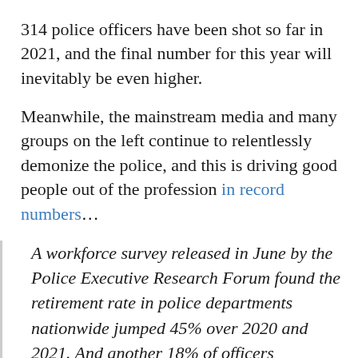314 police officers have been shot so far in 2021, and the final number for this year will inevitably be even higher.
Meanwhile, the mainstream media and many groups on the left continue to relentlessly demonize the police, and this is driving good people out of the profession in record numbers…
A workforce survey released in June by the Police Executive Research Forum found the retirement rate in police departments nationwide jumped 45% over 2020 and 2021. And another 18% of officers resigned, the survey found, a development which